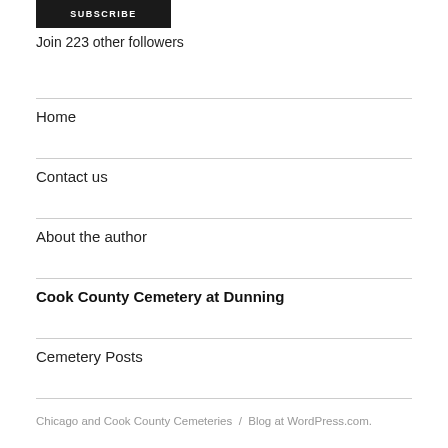[Figure (other): SUBSCRIBE button — dark/black button with white uppercase text]
Join 223 other followers
Home
Contact us
About the author
Cook County Cemetery at Dunning
Cemetery Posts
Chicago and Cook County Cemeteries / Blog at WordPress.com.